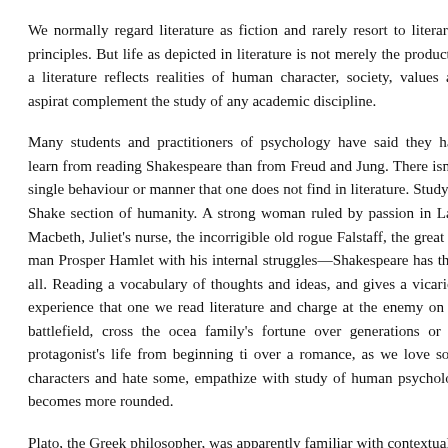We normally regard literature as fiction and rarely resort to literary e principles. But life as depicted in literature is not merely the product of a literature reflects realities of human character, society, values and aspirat complement the study of any academic discipline.
Many students and practitioners of psychology have said they have learn from reading Shakespeare than from Freud and Jung. There isn't a single behaviour or manner that one does not find in literature. Studying Shake section of humanity. A strong woman ruled by passion in Lady Macbeth, Juliet's nurse, the incorrigible old rogue Falstaff, the great old man Prosper Hamlet with his internal struggles—Shakespeare has them all. Reading a vocabulary of thoughts and ideas, and gives a vicarious experience that one we read literature and charge at the enemy on the battlefield, cross the ocea family's fortune over generations or the protagonist's life from beginning ti over a romance, as we love some characters and hate some, empathize with study of human psychology becomes more rounded.
Plato, the Greek philosopher, was apparently familiar with contextual ec conversational prose to teach his principles, his characters asked questions Analogy of the Sun, Allegory of the Divided Line and the Parable of philosophy such as goodness, psyche and perception. He tells the story of p